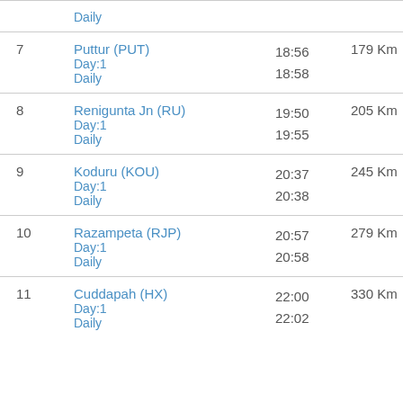| # | Station | Time | Distance |
| --- | --- | --- | --- |
|  | Daily |  |  |
| 7 | Puttur (PUT)
Day:1
Daily | 18:56
18:58 | 179 Km |
| 8 | Renigunta Jn (RU)
Day:1
Daily | 19:50
19:55 | 205 Km |
| 9 | Koduru (KOU)
Day:1
Daily | 20:37
20:38 | 245 Km |
| 10 | Razampeta (RJP)
Day:1
Daily | 20:57
20:58 | 279 Km |
| 11 | Cuddapah (HX)
Day:1
Daily | 22:00
22:02 | 330 Km |